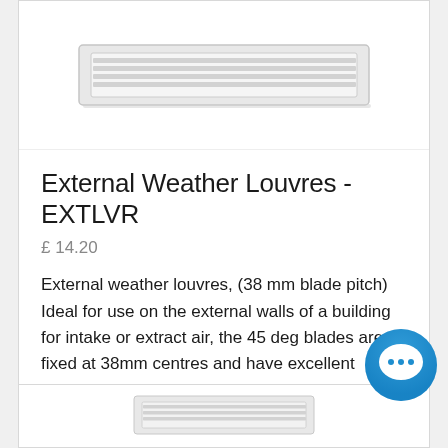[Figure (photo): Photo of an External Weather Louvre product (EXTLVR) — a rectangular metallic ventilation grille with horizontal louvre blades, shown from the front against a white background]
External Weather Louvres - EXTLVR
£ 14.20
External weather louvres, (38 mm blade pitch) Ideal for use on the external walls of a building for intake or extract air, the 45 deg blades are fixed at 38mm centres and have excellent integral ra...
[Figure (photo): Partial view of a second product card at the bottom of the page showing another louvre product]
[Figure (other): Chat support bubble icon — a dark blue circular button with speech bubble and three dots, positioned at bottom right]